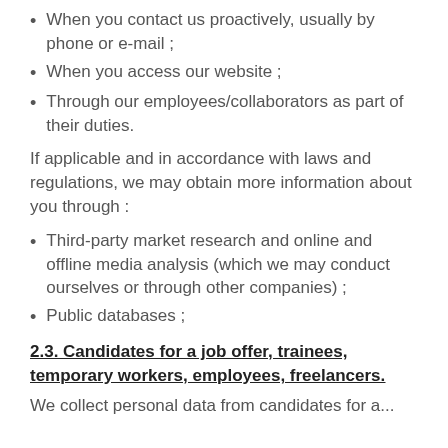When you contact us proactively, usually by phone or e-mail ;
When you access our website ;
Through our employees/collaborators as part of their duties.
If applicable and in accordance with laws and regulations, we may obtain more information about you through :
Third-party market research and online and offline media analysis (which we may conduct ourselves or through other companies) ;
Public databases ;
2.3. Candidates for a job offer, trainees, temporary workers, employees, freelancers.
We collect personal data from candidates for a...